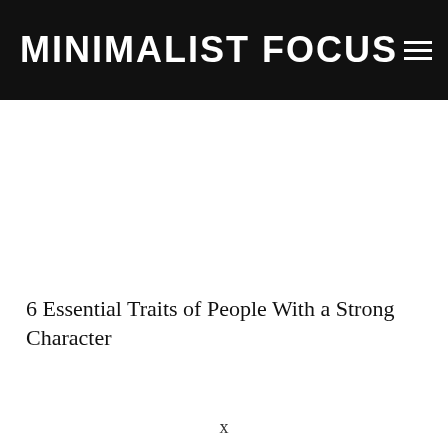MINIMALIST FOCUS
6 Essential Traits of People With a Strong Character